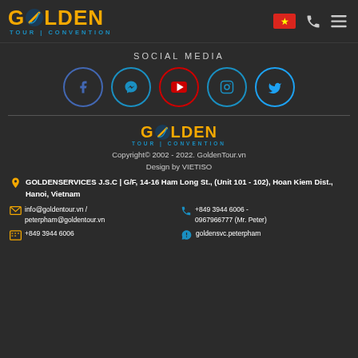[Figure (logo): Golden Tour Convention logo with golden text and blue accent, navigation icons including Vietnam flag, phone, and menu]
SOCIAL MEDIA
[Figure (infographic): Five social media icons in circles: Facebook (blue), Messenger (blue), YouTube (red), Instagram (blue), Twitter (blue)]
[Figure (logo): Golden Tour Convention footer logo]
Copyright© 2002 - 2022. GoldenTour.vn
Design by VIETISO
GOLDENSERVICES J.S.C | G/F, 14-16 Ham Long St., (Unit 101 - 102), Hoan Kiem Dist., Hanoi, Vietnam
info@goldentour.vn / peterpham@goldentour.vn
+849 3944 6006 - 0967966777 (Mr. Peter)
+849 3944 6006
goldensvc.peterpham